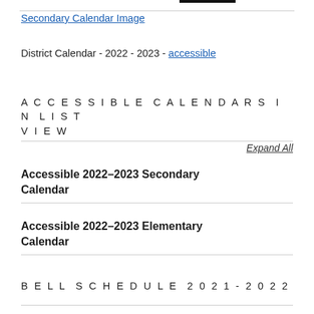Secondary Calendar Image
District Calendar - 2022 - 2023 - accessible
ACCESSIBLE CALENDARS IN LIST VIEW
Expand All
Accessible 2022–2023 Secondary Calendar
Accessible 2022–2023 Elementary Calendar
BELL SCHEDULE 2021-2022